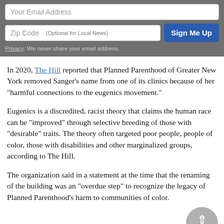[Figure (screenshot): Email signup form with Zip Code field, optional local news label, and Sign Me Up button on a gray background, with a privacy note below.]
In 2020, The Hill reported that Planned Parenthood of Greater New York removed Sanger's name from one of its clinics because of her "harmful connections to the eugenics movement."
Eugenics is a discredited, racist theory that claims the human race can be "improved" through selective breeding of those with "desirable" traits. The theory often targeted poor people, people of color, those with disabilities and other marginalized groups, according to The Hill.
The organization said in a statement at the time that the renaming of the building was an "overdue step" to recognize the legacy of Planned Parenthood's harm to communities of color.